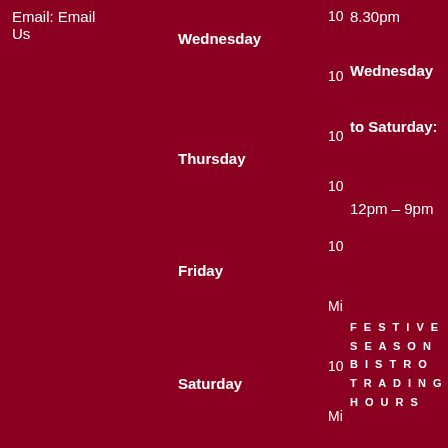Email: Email Us
Wednesday
Thursday
Friday
Saturday
Sunday
Christmas
8.30pm
Wednesday to Saturday: 12pm – 9pm
FESTIVE SEASON BISTRO TRADING HOURS
Closed: 25th 26th, 27th, 31st December